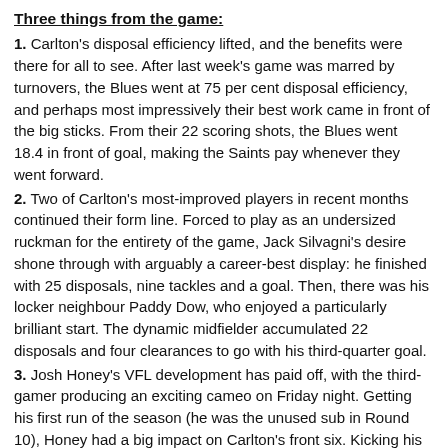Three things from the game:
1. Carlton's disposal efficiency lifted, and the benefits were there for all to see. After last week's game was marred by turnovers, the Blues went at 75 per cent disposal efficiency, and perhaps most impressively their best work came in front of the big sticks. From their 22 scoring shots, the Blues went 18.4 in front of goal, making the Saints pay whenever they went forward.
2. Two of Carlton's most-improved players in recent months continued their form line. Forced to play as an undersized ruckman for the entirety of the game, Jack Silvagni's desire shone through with arguably a career-best display: he finished with 25 disposals, nine tackles and a goal. Then, there was his locker neighbour Paddy Dow, who enjoyed a particularly brilliant start. The dynamic midfielder accumulated 22 disposals and four clearances to go with his third-quarter goal.
3. Josh Honey's VFL development has paid off, with the third-gamer producing an exciting cameo on Friday night. Getting his first run of the season (he was the unused sub in Round 10), Honey had a big impact on Carlton's front six. Kicking his first two goals of his career, Honey got himself into the game with three direct goal assists in the first half.
Moment of the match:
It had to be Charlie. Returning after two years on the sidelines, Charlie Curnow reminded fans exactly why they missed him so much. Kicking a goal from outside 50 off one step, Curnow's power and precision was a glimpse of his former self and hopefully something he can build on for the remaining games in the season. It wasn't the biggest influence from the returning forward, but it laid down a significant marker for his return, and seeing him emerge unscathed was the cherry on top of the four points.